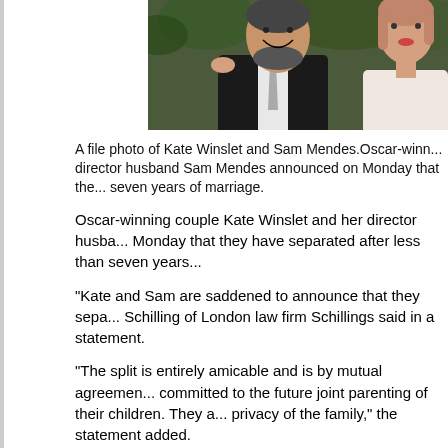[Figure (photo): A file photo of Kate Winslet and Sam Mendes. A man in a black suit with grey tie smiling, and a woman in light clothing beside him, with green foliage background.]
A file photo of Kate Winslet and Sam Mendes.Oscar-winning director husband Sam Mendes announced on Monday that they separated after seven years of marriage.
Oscar-winning couple Kate Winslet and her director husband announced on Monday that they have separated after less than seven years of marriage.
"Kate and Sam are saddened to announce that they separated," Schilling of London law firm Schillings said in a statement.
"The split is entirely amicable and is by mutual agreement. Both are committed to the future joint parenting of their children. They ask for privacy of the family," the statement added.